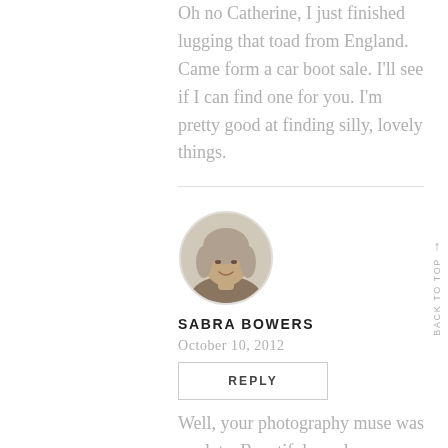Oh no Catherine, I just finished lugging that toad from England. Came form a car boot sale. I'll see if I can find one for you. I'm pretty good at finding silly, lovely things.
[Figure (photo): Circular avatar photo of Sabra Bowers, a woman with light gray/blonde hair, smiling, shown from shoulders up.]
SABRA BOWERS
October 10, 2012
REPLY
Well, your photography muse was on duty. Beautiful, as always. Someone's transition can bring up lots of stuff. Don't